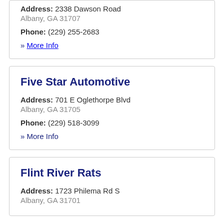Address: 2338 Dawson Road Albany, GA 31707
Phone: (229) 255-2683
» More Info
Five Star Automotive
Address: 701 E Oglethorpe Blvd Albany, GA 31705
Phone: (229) 518-3099
» More Info
Flint River Rats
Address: 1723 Philema Rd S Albany, GA 31701